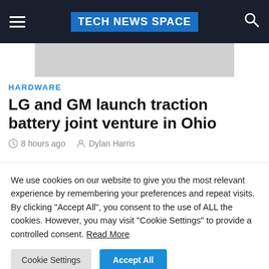TECH NEWS SPACE
[Figure (photo): Partially visible top image placeholder (gray background)]
HARDWARE
LG and GM launch traction battery joint venture in Ohio
8 hours ago  Dylan Harris
[Figure (photo): Partially visible image with dark purple/blue gradient background]
We use cookies on our website to give you the most relevant experience by remembering your preferences and repeat visits. By clicking "Accept All", you consent to the use of ALL the cookies. However, you may visit "Cookie Settings" to provide a controlled consent. Read More
Cookie Settings  Accept All